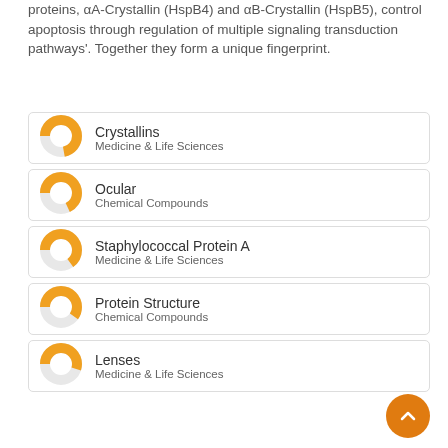proteins, αA-Crystallin (HspB4) and αB-Crystallin (HspB5), control apoptosis through regulation of multiple signaling transduction pathways'. Together they form a unique fingerprint.
Crystallins — Medicine & Life Sciences
Ocular — Chemical Compounds
Staphylococcal Protein A — Medicine & Life Sciences
Protein Structure — Chemical Compounds
Lenses — Medicine & Life Sciences